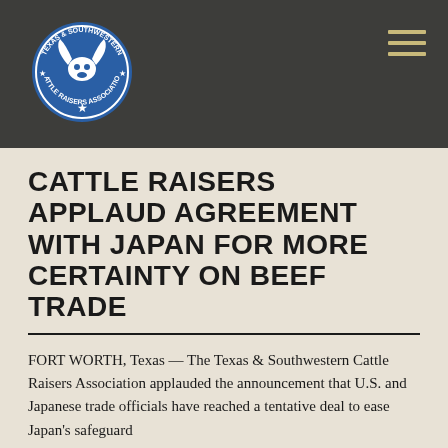[Figure (logo): Texas & Southwestern Cattle Raisers Association circular logo with longhorn skull and star, blue and white, on dark grey header bar]
CATTLE RAISERS APPLAUD AGREEMENT WITH JAPAN FOR MORE CERTAINTY ON BEEF TRADE
FORT WORTH, Texas — The Texas & Southwestern Cattle Raisers Association applauded the announcement that U.S. and Japanese trade officials have reached a tentative deal to ease Japan's safeguard